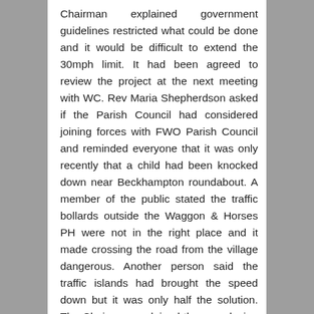Chairman explained government guidelines restricted what could be done and it would be difficult to extend the 30mph limit. It had been agreed to review the project at the next meeting with WC. Rev Maria Shepherdson asked if the Parish Council had considered joining forces with FWO Parish Council and reminded everyone that it was only recently that a child had been knocked down near Beckhampton roundabout. A member of the public stated the traffic bollards outside the Waggon & Horses PH were not in the right place and it made crossing the road from the village dangerous. Another person said the traffic islands had brought the speed down but it was only half the solution. The Chairman explained the new design in the plan would be to have grass splitter islands in the A4 at Beckhampton and these would narrow the carriageway and slow traffic by design. Rob Macaire thanked the Chairman for the work that had been done and said his reflection of the WHS Transport Strategy was that it was a really good tool. He urged